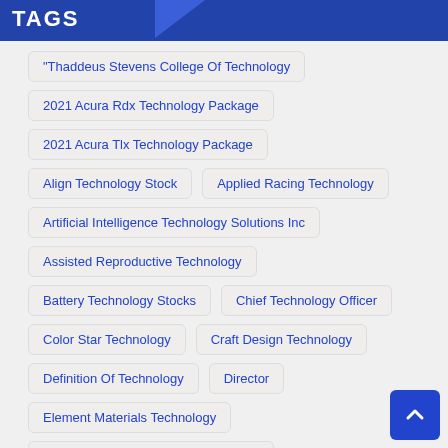TAGS
"Thaddeus Stevens College Of Technology
2021 Acura Rdx Technology Package
2021 Acura Tlx Technology Package
Align Technology Stock
Applied Racing Technology
Artificial Intelligence Technology Solutions Inc
Assisted Reproductive Technology
Battery Technology Stocks
Chief Technology Officer
Color Star Technology
Craft Design Technology
Definition Of Technology
Director
Element Materials Technology
Health Information Technology Salary